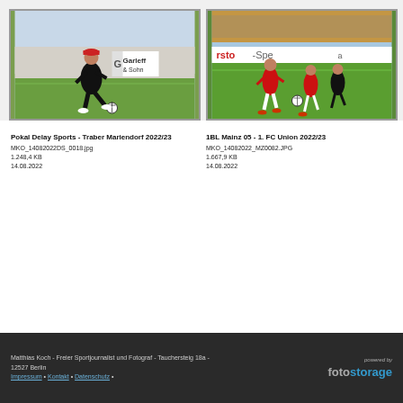[Figure (photo): Man in black outfit with red cap kicking a soccer ball on a green field, with advertising boards in background (Garleff & Sohn)]
[Figure (photo): Soccer match action shot - players in red and black jerseys competing for ball on green pitch, with spectators in background]
Pokal Delay Sports - Traber Mariendorf 2022/23
MKO_14082022DS_0018.jpg
1.248,4 KB
14.08.2022
1BL Mainz 05 - 1. FC Union 2022/23
MKO_14082022_MZ0082.JPG
1.667,9 KB
14.08.2022
Matthias Koch - Freier Sportjournalist und Fotograf - Tauchersteig 18a - 12527 Berlin
Impressum • Kontakt • Datenschutz •
powered by fotostorage